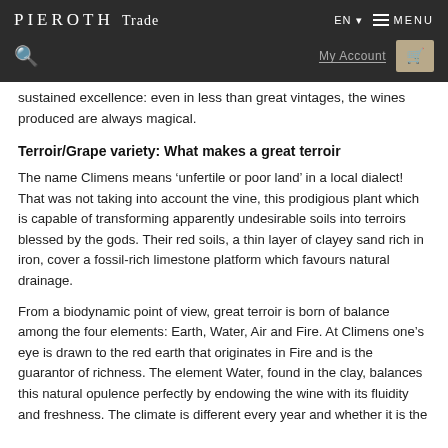PIEROTH Trade | EN | MENU | My Account
sustained excellence: even in less than great vintages, the wines produced are always magical.
Terroir/Grape variety: What makes a great terroir
The name Climens means ‘unfertile or poor land’ in a local dialect! That was not taking into account the vine, this prodigious plant which is capable of transforming apparently undesirable soils into terroirs blessed by the gods. Their red soils, a thin layer of clayey sand rich in iron, cover a fossil-rich limestone platform which favours natural drainage.
From a biodynamic point of view, great terroir is born of balance among the four elements: Earth, Water, Air and Fire. At Climens one’s eye is drawn to the red earth that originates in Fire and is the guarantor of richness. The element Water, found in the clay, balances this natural opulence perfectly by endowing the wine with its fluidity and freshness. The climate is different every year and whether it is the